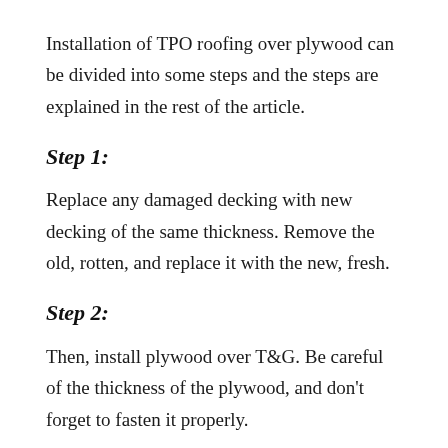Installation of TPO roofing over plywood can be divided into some steps and the steps are explained in the rest of the article.
Step 1:
Replace any damaged decking with new decking of the same thickness. Remove the old, rotten, and replace it with the new, fresh.
Step 2:
Then, install plywood over T&G. Be careful of the thickness of the plywood, and don't forget to fasten it properly.